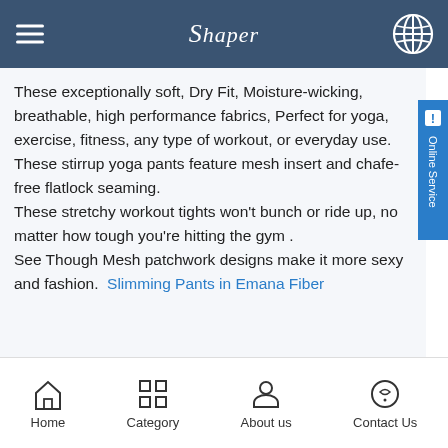Shaper
These exceptionally soft, Dry Fit, Moisture-wicking, breathable, high performance fabrics, Perfect for yoga, exercise, fitness, any type of workout, or everyday use. These stirrup yoga pants feature mesh insert and chafe-free flatlock seaming. These stretchy workout tights won't bunch or ride up, no matter how tough you're hitting the gym . See Though Mesh patchwork designs make it more sexy and fashion. Slimming Pants in Emana Fiber
Home  Category  About us  Contact Us